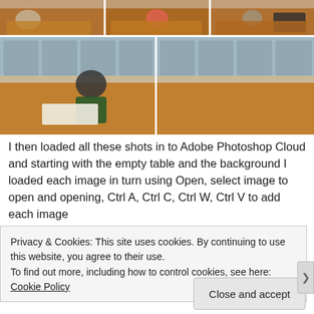[Figure (photo): Grid of 5 photos showing people sitting at a long wooden dining table from different angles, with a kitchen background. Top row has 3 photos side by side; bottom row has 2 larger photos side by side.]
I then loaded all these shots in to Adobe Photoshop Cloud and starting with the empty table and the background I loaded each image in turn using Open, select image to open and opening, Ctrl A, Ctrl C, Ctrl W, Ctrl V to add each image
Privacy & Cookies: This site uses cookies. By continuing to use this website, you agree to their use.
To find out more, including how to control cookies, see here: Cookie Policy
Close and accept